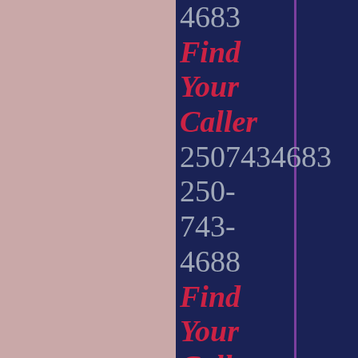4683
Find Your Caller
2507434683
250-
743-
4688
Find Your Caller
2507434688
250-
743-
4635
Find